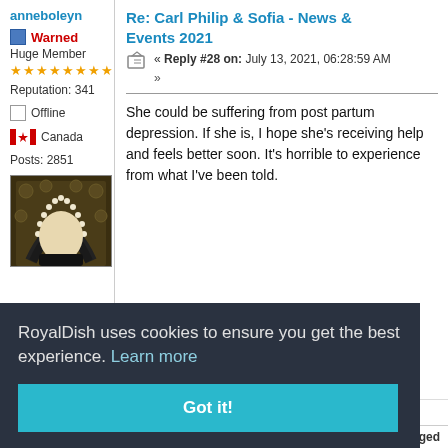anneboleyn
Warned
Huge Member
★★★★★★★★
Reputation: 341
Offline
Canada
Posts: 2851
[Figure (photo): Avatar image showing a historical painting portrait cropped to head area with ornate dark background]
Re: Carl Philip & Sofia - News & Events 2021
« Reply #28 on: July 13, 2021, 06:28:59 AM
»
She could be suffering from post partum depression. If she is, I hope she's receiving help and feels better soon. It's horrible to experience from what I've been told.
Logged
"And she will keep coming back to life, over and over
RoyalDish uses cookies to ensure you get the best experience. Learn more
Got it!